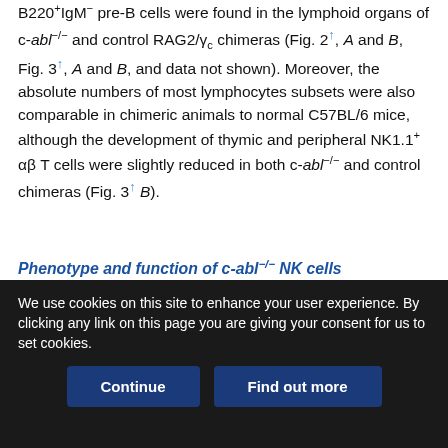B220+IgM− pre-B cells were found in the lymphoid organs of c-abl−/− and control RAG2/γc chimeras (Fig. 2↑, A and B, Fig. 3↑, A and B, and data not shown). Moreover, the absolute numbers of most lymphocytes subsets were also comparable in chimeric animals to normal C57BL/6 mice, although the development of thymic and peripheral NK1.1+ αβ T cells were slightly reduced in both c-abl−/− and control chimeras (Fig. 3↑ B).
Phenotype and function of c-abl−/− NK cells
A more detailed analysis of the NK cells generated in c-abl−/− RAG2/γc chimeras was performed. Using a panel of Abs detecting Ags expressed by NK cells, a normal percentage and expression level of CD2, CD11b, CD16, CD45B, DX5, CD122, CD90, and
We use cookies on this site to enhance your user experience. By clicking any link on this page you are giving your consent for us to set cookies.